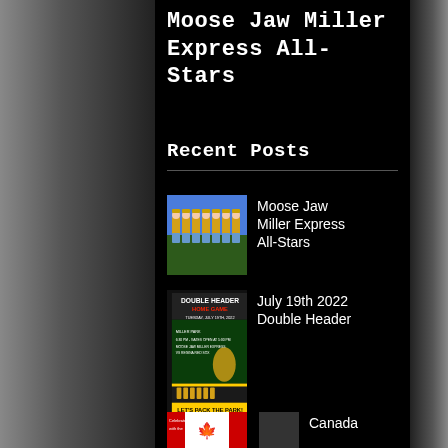Moose Jaw Miller Express All-Stars
Recent Posts
Moose Jaw Miller Express All-Stars
July 19th 2022 Double Header
Canada